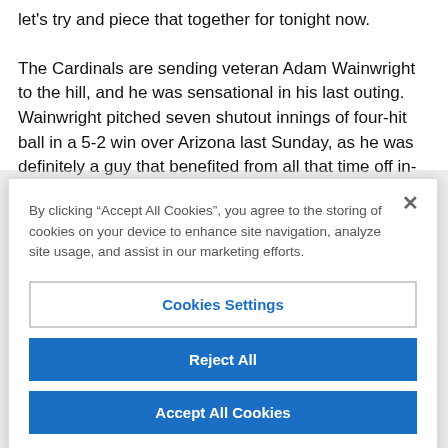let's try and piece that together for tonight now. The Cardinals are sending veteran Adam Wainwright to the hill, and he was sensational in his last outing. Wainwright pitched seven shutout innings of four-hit ball in a 5-2 win over Arizona last Sunday, as he was definitely a guy that benefited from all that time off in-between starts thanks to the All Star game. It was
By clicking “Accept All Cookies”, you agree to the storing of cookies on your device to enhance site navigation, analyze site usage, and assist in our marketing efforts.
Cookies Settings
Reject All
Accept All Cookies